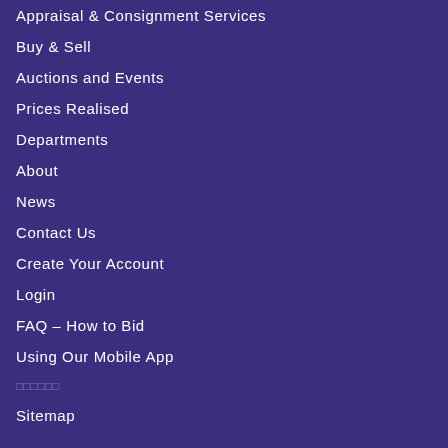Appraisal & Consignment Services
Buy & Sell
Auctions and Events
Prices Realised
Departments
About
News
Contact Us
Create Your Account
Login
FAQ – How to Bid
Using Our Mobile App
□□□□□□
Sitemap